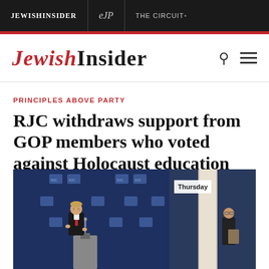JEWISHINSIDER | eJP | THE CIRCUIT+
JEWISHINSIDER
PRINCIPLES ABOVE PARTY
RJC withdraws support from GOP members who voted against Holocaust education bill
[Figure (photo): Two men at a Republican Jewish Coalition event. A man in a suit with a red tie speaks at a podium on the left. Another man in a dark suit stands on the right. The backdrop shows the Republican Jewish Coalition logo repeated. A 'Thursday' text overlay is visible on the right side.]